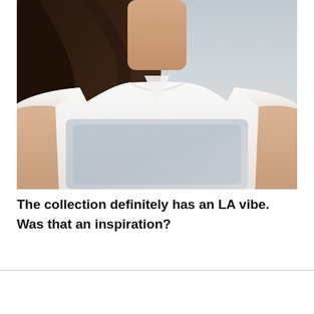[Figure (photo): Close-up photo of a woman from neck down wearing a sheer white graphic t-shirt, with long dark hair, photographed against a blurred outdoor background]
The collection definitely has an LA vibe. Was that an inspiration?
RACKED LOS ANGELES